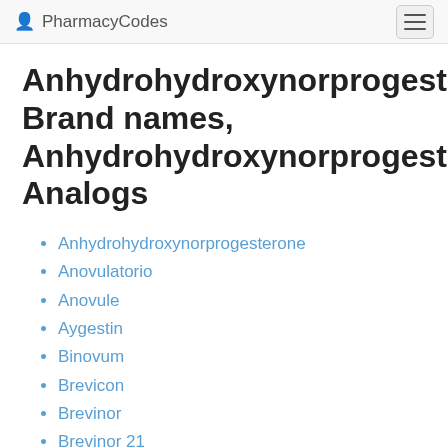PharmacyCodes
Anhydrohydroxynorprogesterone Brand names, Anhydrohydroxynorprogesterone Analogs
Anhydrohydroxynorprogesterone
Anovulatorio
Anovule
Aygestin
Binovum
Brevicon
Brevinor
Brevinor 21
Brevinor 28
Brevinor-1 21
Brevinor-1 28
Camila